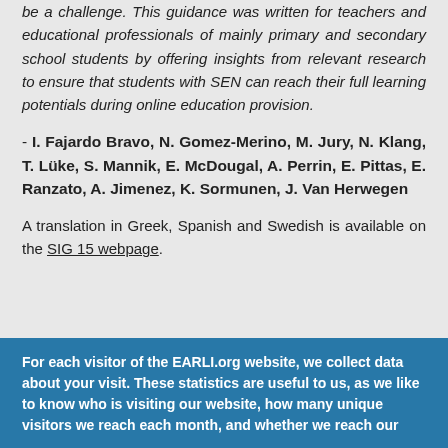be a challenge. This guidance was written for teachers and educational professionals of mainly primary and secondary school students by offering insights from relevant research to ensure that students with SEN can reach their full learning potentials during online education provision.
- I. Fajardo Bravo, N. Gomez-Merino, M. Jury, N. Klang, T. Lüke, S. Mannik, E. McDougal, A. Perrin, E. Pittas, E. Ranzato, A. Jimenez, K. Sormunen, J. Van Herwegen
A translation in Greek, Spanish and Swedish is available on the SIG 15 webpage.
For each visitor of the EARLI.org website, we collect data about your visit. These statistics are useful to us, as we like to know who is visiting our website, how many unique visitors we reach each month, and whether we reach our